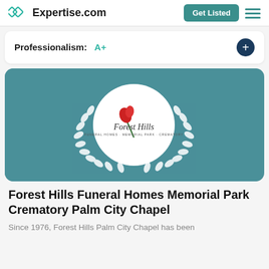Expertise.com
Professionalism: A+
[Figure (logo): Forest Hills Funeral Homes Memorial Park Crematory logo inside a white circle with white laurel wreath on teal background]
Forest Hills Funeral Homes Memorial Park Crematory Palm City Chapel
Since 1976, Forest Hills Palm City Chapel has been